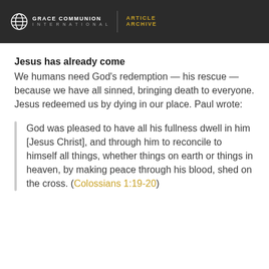GRACE COMMUNION INTERNATIONAL | ARTICLE ARCHIVE
Jesus has already come
We humans need God's redemption — his rescue — because we have all sinned, bringing death to everyone. Jesus redeemed us by dying in our place. Paul wrote:
God was pleased to have all his fullness dwell in him [Jesus Christ], and through him to reconcile to himself all things, whether things on earth or things in heaven, by making peace through his blood, shed on the cross. (Colossians 1:19-20)